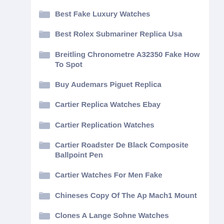Best Fake Luxury Watches
Best Rolex Submariner Replica Usa
Breitling Chronometre A32350 Fake How To Spot
Buy Audemars Piguet Replica
Cartier Replica Watches Ebay
Cartier Replication Watches
Cartier Roadster De Black Composite Ballpoint Pen
Cartier Watches For Men Fake
Chineses Copy Of The Ap Mach1 Mount
Clones A Lange Sohne Watches
Copies Panerai Watch